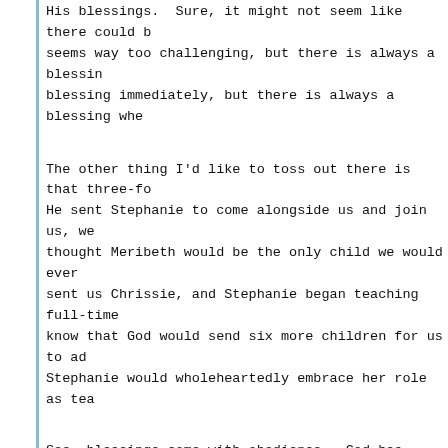His blessings.  Sure, it might not seem like there could be a blessing when it seems way too challenging, but there is always a blessing. You might not see the blessing immediately, but there is always a blessing when you obey.
The other thing I'd like to toss out there is that three-fold blessing again. He sent Stephanie to come alongside us and join us, we thought Meribeth would be the only child we would ever homeschool. Then God sent us Chrissie, and Stephanie began teaching full-time. We certainly didn't know that God would send six more children for us to add to our family, or that Stephanie would wholeheartedly embrace her role as teacher.
See, blessings come with obedience.  God has entrusted us with blessings we wouldn't have had if we had chosen to make excuses.